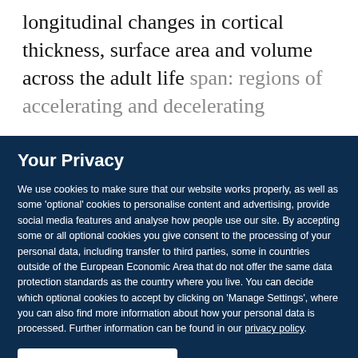longitudinal changes in cortical thickness, surface area and volume across the adult life span: regions of accelerating and decelerating
Your Privacy
We use cookies to make sure that our website works properly, as well as some ‘optional’ cookies to personalise content and advertising, provide social media features and analyse how people use our site. By accepting some or all optional cookies you give consent to the processing of your personal data, including transfer to third parties, some in countries outside of the European Economic Area that do not offer the same data protection standards as the country where you live. You can decide which optional cookies to accept by clicking on ‘Manage Settings’, where you can also find more information about how your personal data is processed. Further information can be found in our privacy policy.
Accept all cookies
Manage preferences